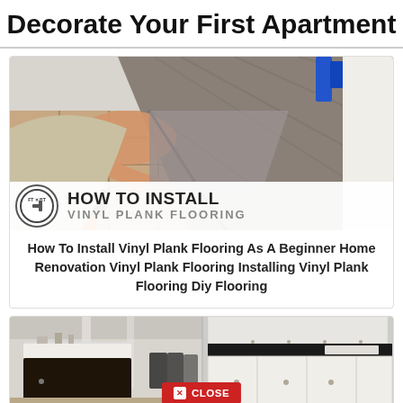Decorate Your First Apartment
[Figure (photo): Person installing vinyl plank flooring over existing tile floor, with HOW TO INSTALL VINYL PLANK FLOORING banner overlay]
How To Install Vinyl Plank Flooring As A Beginner Home Renovation Vinyl Plank Flooring Installing Vinyl Plank Flooring Diy Flooring
[Figure (photo): Two kitchen images side by side showing dark island kitchen on left and white cabinet kitchen on right, with a red CLOSE button overlay]